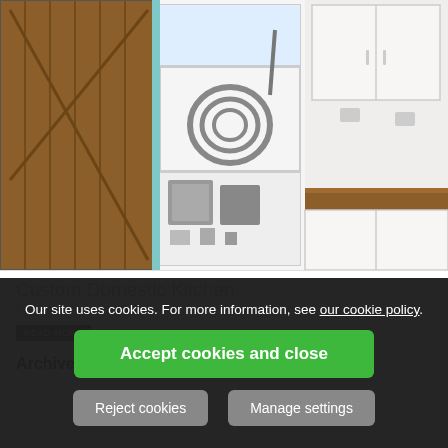[Figure (photo): Kitchen photo showing a wooden barn-style door on the left, a white cabinet/shelf unit in the center with coiled hose and appliances, and white kitchen cabinets with a wooden worktop on the right.]
Custom Domestic Kitchen
Posted on 20th ... 2019
READ MORE
Archives
Tags
Our site uses cookies. For more information, see our cookie policy.
Accept cookies and close
Reject cookies
Manage settings